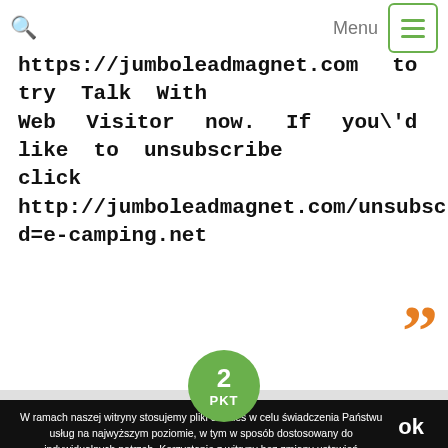Menu
https://jumboleadmagnet.com to try Talk With Web Visitor now. If you'd like to unsubscribe click here http://jumboleadmagnet.com/unsubscribe.aspx?d=e-camping.net
[Figure (other): Orange closing quotation mark decorative element]
[Figure (other): Green circular badge with number 2 and text PKT]
W ramach naszej witryny stosujemy pliki cookies w celu świadczenia Państwu usług na najwyższym poziomie, w tym w sposób dostosowany do indywidualnych potrzeb. Korzystanie z witryny bez zmiany ustawień dotyczących cookies oznacza, że będą one zamieszczane w Państwa urządzeniu końcowym. Możecie Państwo dokonać w każdym czasie zmiany ustawień dotyczących cookies. Więcej szczegółów w naszej